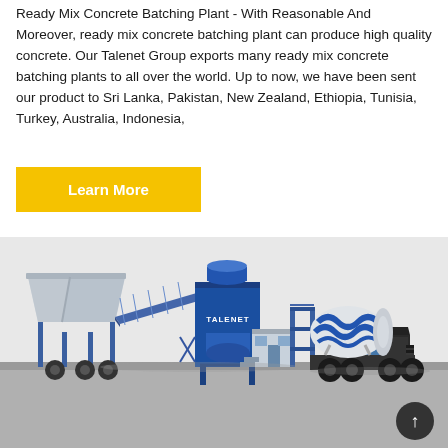Ready Mix Concrete Batching Plant - With Reasonable And Moreover, ready mix concrete batching plant can produce high quality concrete. Our Talenet Group exports many ready mix concrete batching plants to all over the world. Up to now, we have been sent our product to Sri Lanka, Pakistan, New Zealand, Ethiopia, Tunisia, Turkey, Australia, Indonesia,
Learn More
[Figure (illustration): 3D rendered illustration of a Talenet branded ready mix concrete batching plant showing aggregate hoppers, conveyor belt, mixing unit, control room, and a concrete mixer truck on a grey platform]